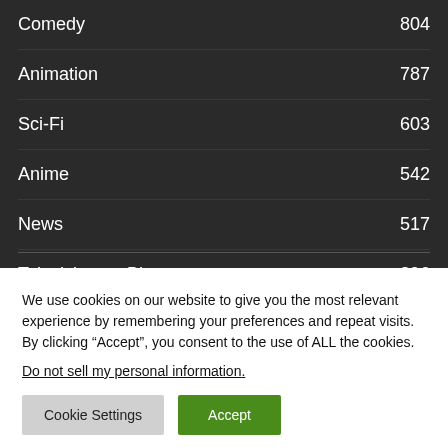Comedy  804
Animation  787
Sci-Fi  603
Anime  542
News  517
Television on Blu-ray  396
We use cookies on our website to give you the most relevant experience by remembering your preferences and repeat visits. By clicking “Accept”, you consent to the use of ALL the cookies.
Do not sell my personal information.
Cookie Settings  Accept